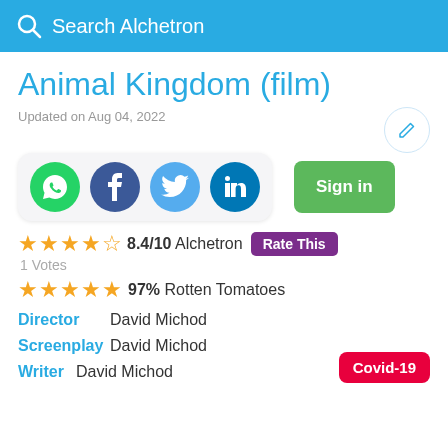Search Alchetron
Animal Kingdom (film)
Updated on Aug 04, 2022
[Figure (infographic): Row of social media icon buttons (WhatsApp, Facebook, Twitter, LinkedIn), an edit pencil button, and a green Sign in button]
★★★★☆ 8.4/10 Alchetron  Rate This
1 Votes
★★★★★ 97% Rotten Tomatoes
Director  David Michod
Screenplay  David Michod
Writer  David Michod
Covid-19